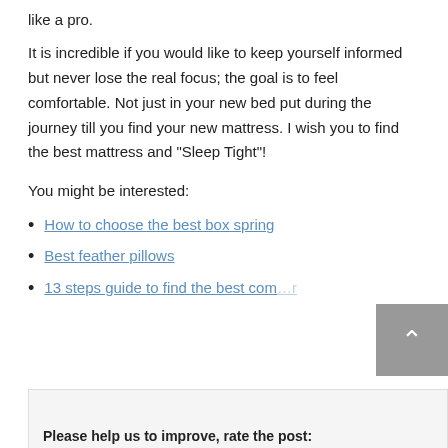like a pro.
It is incredible if you would like to keep yourself informed but never lose the real focus; the goal is to feel comfortable. Not just in your new bed put during the journey till you find your new mattress. I wish you to find the best mattress and “Sleep Tight”!
You might be interested:
How to choose the best box spring
Best feather pillows
13 steps guide to find the best comforter
Please help us to improve, rate the post: